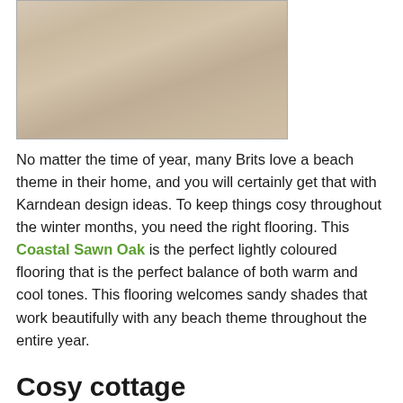[Figure (photo): Close-up photo of light-coloured wood flooring with a sandy/beige tone showing wood grain texture]
No matter the time of year, many Brits love a beach theme in their home, and you will certainly get that with Karndean design ideas. To keep things cosy throughout the winter months, you need the right flooring. This Coastal Sawn Oak is the perfect lightly coloured flooring that is the perfect balance of both warm and cool tones. This flooring welcomes sandy shades that work beautifully with any beach theme throughout the entire year.
Cosy cottage